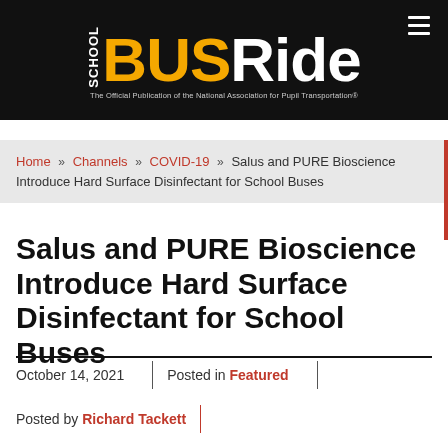SCHOOL BUS Ride - The Official Publication of the National Association for Pupil Transportation®
Home » Channels » COVID-19 » Salus and PURE Bioscience Introduce Hard Surface Disinfectant for School Buses
Salus and PURE Bioscience Introduce Hard Surface Disinfectant for School Buses
October 14, 2021 | Posted in Featured | Posted by Richard Tackett